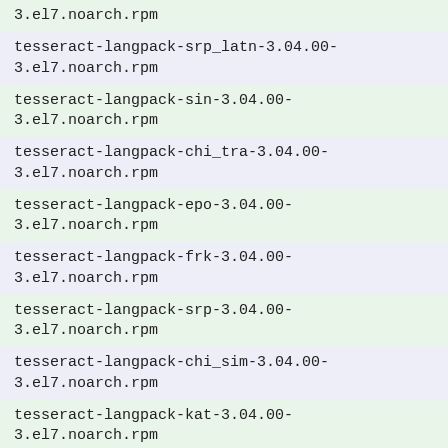3.el7.noarch.rpm
tesseract-langpack-srp_latn-3.04.00-3.el7.noarch.rpm
tesseract-langpack-sin-3.04.00-3.el7.noarch.rpm
tesseract-langpack-chi_tra-3.04.00-3.el7.noarch.rpm
tesseract-langpack-epo-3.04.00-3.el7.noarch.rpm
tesseract-langpack-frk-3.04.00-3.el7.noarch.rpm
tesseract-langpack-srp-3.04.00-3.el7.noarch.rpm
tesseract-langpack-chi_sim-3.04.00-3.el7.noarch.rpm
tesseract-langpack-kat-3.04.00-3.el7.noarch.rpm
tesseract-langpack-swe-3.04.00-3.el7.noarch.rpm
tesseract-langpack-dan-3.04.00-3.el7.noarch.rpm
tesseract-langpack-sqi-3.04.00-3.el7.noarch.rpm